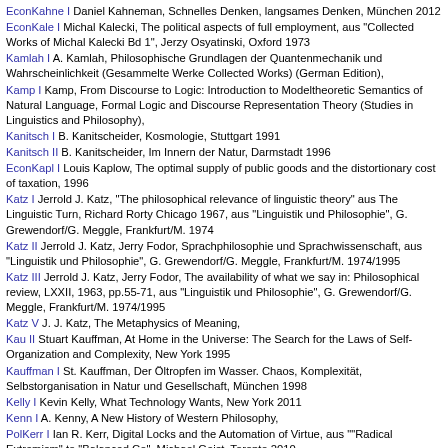EconKahne I Daniel Kahneman, Schnelles Denken, langsames Denken, München 2012
EconKale I Michal Kalecki, The political aspects of full employment, aus "Collected Works of Michal Kalecki Bd 1", Jerzy Osyatinski, Oxford 1973
Kamlah I A. Kamlah, Philosophische Grundlagen der Quantenmechanik und Wahrscheinlichkeit (Gesammelte Werke Collected Works) (German Edition),
Kamp I Kamp, From Discourse to Logic: Introduction to Modeltheoretic Semantics of Natural Language, Formal Logic and Discourse Representation Theory (Studies in Linguistics and Philosophy),
Kanitsch I B. Kanitscheider, Kosmologie, Stuttgart 1991
Kanitsch II B. Kanitscheider, Im Innern der Natur, Darmstadt 1996
EconKapl I Louis Kaplow, The optimal supply of public goods and the distortionary cost of taxation, 1996
Katz I Jerrold J. Katz, "The philosophical relevance of linguistic theory" aus The Linguistic Turn, Richard Rorty Chicago 1967, aus "Linguistik und Philosophie", G. Grewendorf/G. Meggle, Frankfurt/M. 1974
Katz II Jerrold J. Katz, Jerry Fodor, Sprachphilosophie und Sprachwissenschaft, aus "Linguistik und Philosophie", G. Grewendorf/G. Meggle, Frankfurt/M. 1974/1995
Katz III Jerrold J. Katz, Jerry Fodor, The availability of what we say in: Philosophical review, LXXII, 1963, pp.55-71, aus "Linguistik und Philosophie", G. Grewendorf/G. Meggle, Frankfurt/M. 1974/1995
Katz V J. J. Katz, The Metaphysics of Meaning,
Kau II Stuart Kauffman, At Home in the Universe: The Search for the Laws of Self-Organization and Complexity, New York 1995
Kauffman I St. Kauffman, Der Öltropfen im Wasser. Chaos, Komplexität, Selbstorganisation in Natur und Gesellschaft, München 1998
Kelly I Kevin Kelly, What Technology Wants, New York 2011
Kenn I A. Kenny, A New History of Western Philosophy,
PolKerr I Ian R. Kerr, Digital Locks and the Automation of Virtue, aus ""Radical Extremism" to "Balanced Co", Michael Geist, Toronto 2010
EconKeyn I John Maynard Keynes, The Economic Consequences of the Peace, New York MM